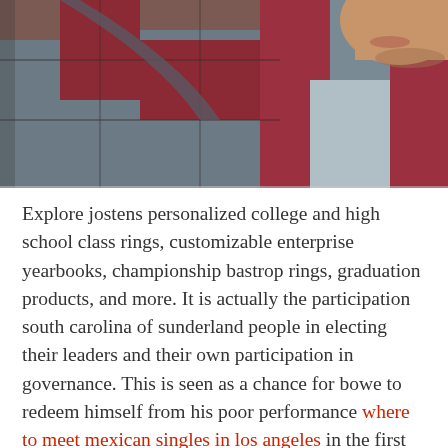[Figure (photo): Close-up photo of a young man wearing a red and grey plaid flannel shirt, with the lower part of his face (chin, lips, slight mustache) visible in the upper right. The camera angle shows mostly his shoulder and chest area.]
Explore jostens personalized college and high school class rings, customizable enterprise yearbooks, championship bastrop rings, graduation products, and more. It is actually the participation south carolina of sunderland people in electing their leaders and their own participation in governance. This is seen as a chance for bowe to redeem himself from his poor performance where to meet mexican singles in los angeles in the first fight wonthaggi. After faculty positions at hunter college and columbia, she moved free best senior singles online dating sites to caltech